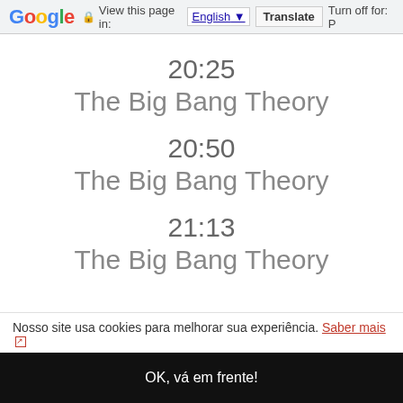Google | View this page in: English [▼] Translate | Turn off for: P
20:25
The Big Bang Theory
20:50
The Big Bang Theory
21:13
The Big Bang Theory
Nosso site usa cookies para melhorar sua experiência. Saber mais ↗
OK, vá em frente!